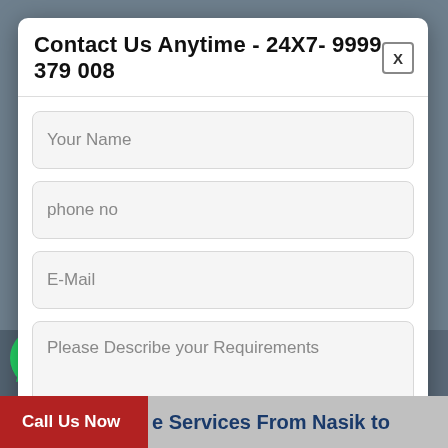[Figure (screenshot): Background showing a website page with a dark overlay, WhatsApp icon in bottom-left, and a bottom banner.]
Contact Us Anytime - 24X7- 9999 379 008
Your Name
phone no
E-Mail
Please Describe your Requirements
Submit
Call Us Now
e Services From Nasik to